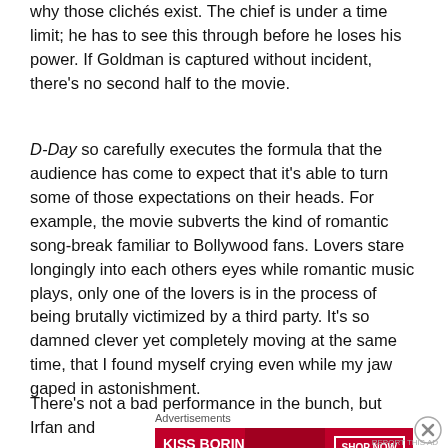why those clichés exist. The chief is under a time limit; he has to see this through before he loses his power. If Goldman is captured without incident, there's no second half to the movie.
D-Day so carefully executes the formula that the audience has come to expect that it's able to turn some of those expectations on their heads. For example, the movie subverts the kind of romantic song-break familiar to Bollywood fans. Lovers stare longingly into each others eyes while romantic music plays, only one of the lovers is in the process of being brutally victimized by a third party. It's so damned clever yet completely moving at the same time, that I found myself crying even while my jaw gaped in astonishment.
There's not a bad performance in the bunch, but Irfan and
Advertisements
[Figure (other): Advertisement banner for Macy's lipstick: 'KISS BORING LIPS GOODBYE' with a photo of lips and a 'SHOP NOW' button and Macy's logo with red star.]